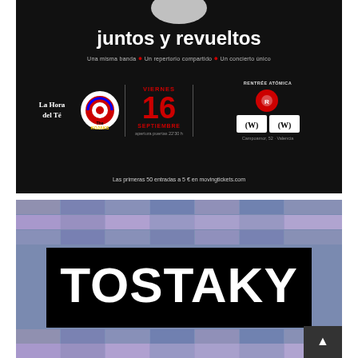[Figure (infographic): Concert poster on black background. Title 'juntos y revueltos'. Subtitle: 'Una misma banda • Un repertorio compartido • Un concierto único'. Features band info: La Hora del Té / The Kojaks. Date: VIERNES 16 SEPTIEMBRE, apertura puertas 22'30 h. Venue: Rentrée Atómica, Campoamor, 52 - Valencia. Ticket info: Las primeras 50 entradas a 5 € en movingtickets.com]
[Figure (infographic): TOSTAKY logo/banner. White bold text 'TOSTAKY' on black rectangle, set against a striped blue/purple checkered background. Small scroll-to-top button in bottom right.]